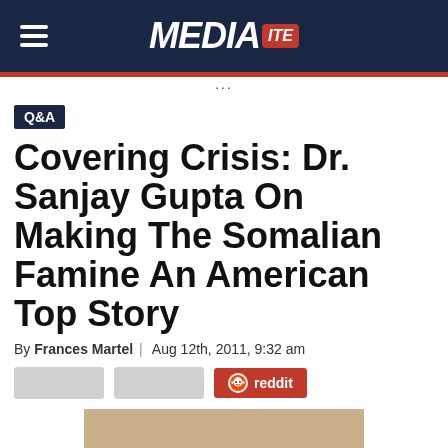MEDIAITE
Q&A
Covering Crisis: Dr. Sanjay Gupta On Making The Somalian Famine An American Top Story
By Frances Martel | Aug 12th, 2011, 9:32 am
[Figure (photo): Dr. Sanjay Gupta surrounded by smiling Somalian children in an outdoor arid setting]